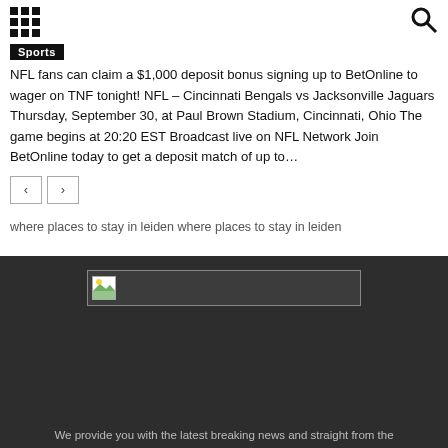[grid icon] [search icon]
Sports
NFL fans can claim a $1,000 deposit bonus signing up to BetOnline to wager on TNF tonight! NFL – Cincinnati Bengals vs Jacksonville Jaguars Thursday, September 30, at Paul Brown Stadium, Cincinnati, Ohio The game begins at 20:20 EST Broadcast live on NFL Network Join BetOnline today to get a deposit match of up to…
where places to stay in leiden where places to stay in leiden
[Figure (other): Broken image placeholder in a dark footer section]
We provide you with the latest breaking news and straight from the